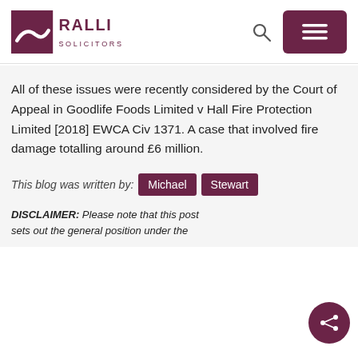[Figure (logo): Ralli Solicitors logo — dark maroon square with white wave/bird shape, text RALLI SOLICITORS]
All of these issues were recently considered by the Court of Appeal in Goodlife Foods Limited v Hall Fire Protection Limited [2018] EWCA Civ 1371. A case that involved fire damage totalling around £6 million.
This blog was written by: Michael Stewart
DISCLAIMER: Please note that this post sets out the general position under the